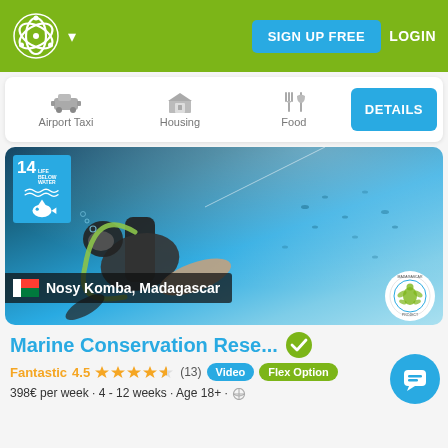SIGN UP FREE | LOGIN
[Figure (screenshot): App navigation bar with Airport Taxi, Housing, Food icons and DETAILS button]
[Figure (photo): Scuba diver underwater in blue ocean water near Nosy Komba, Madagascar. SDG 14 Life Below Water badge in top-left corner.]
Marine Conservation Rese...
Fantastic 4.5 ★★★★★ (13) Video Flex Option
398€ per week · 4 - 12 weeks · Age 18+